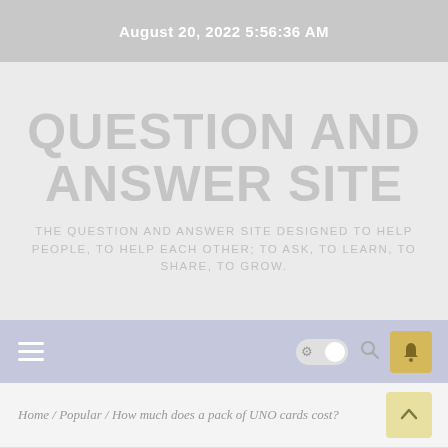August 20, 2022 5:56:36 AM
QUESTION AND ANSWER SITE
THE QUESTION AND ANSWER SITE DESIGNED TO HELP PEOPLE, TO HELP EACH OTHER; TO ASK, TO LEARN, TO SHARE, TO GROW.
[Figure (screenshot): Navigation bar with hamburger menu, dark/light mode toggle, search icon, and notification bell button]
Home / Popular / How much does a pack of UNO cards cost?